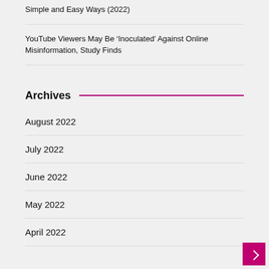Simple and Easy Ways (2022)
YouTube Viewers May Be ‘Inoculated’ Against Online Misinformation, Study Finds
Archives
August 2022
July 2022
June 2022
May 2022
April 2022